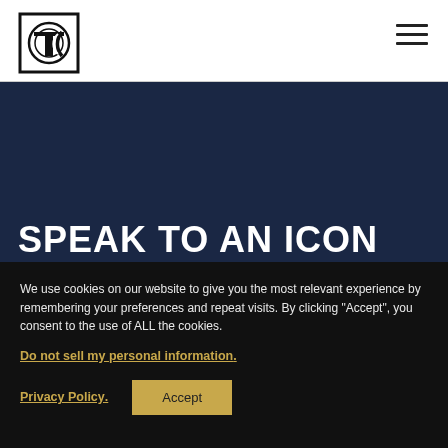[Figure (logo): Stylized TC monogram logo in black and white with geometric circular design]
[Figure (illustration): Hamburger menu icon with three horizontal lines]
SPEAK TO AN ICON
We use cookies on our website to give you the most relevant experience by remembering your preferences and repeat visits. By clicking “Accept”, you consent to the use of ALL the cookies.
Do not sell my personal information.
Privacy Policy
Accept